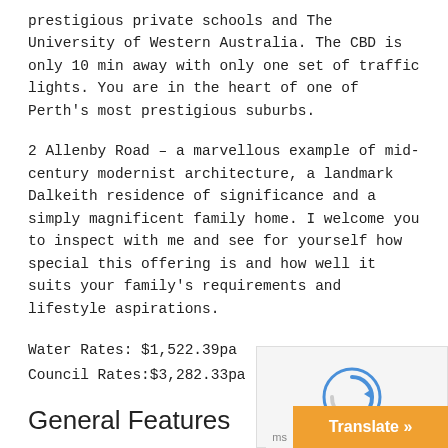prestigious private schools and The University of Western Australia. The CBD is only 10 min away with only one set of traffic lights. You are in the heart of one of Perth's most prestigious suburbs.
2 Allenby Road – a marvellous example of mid-century modernist architecture, a landmark Dalkeith residence of significance and a simply magnificent family home. I welcome you to inspect with me and see for yourself how special this offering is and how well it suits your family's requirements and lifestyle aspirations.
Water Rates: $1,522.39pa
Council Rates:$3,282.33pa
General Features
Property Type: House